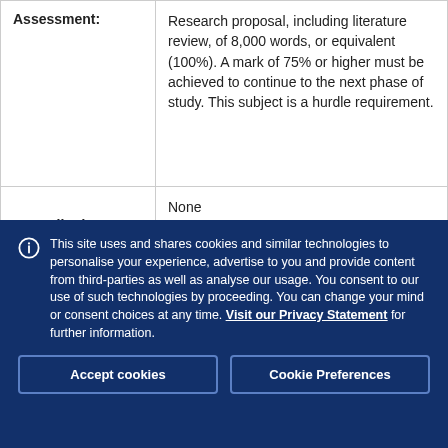|  |  |
| --- | --- |
| Assessment: | Research proposal, including literature review, of 8,000 words, or equivalent (100%). A mark of 75% or higher must be achieved to continue to the next phase of study. This subject is a hurdle requirement. |
| Prescribed | None |
This site uses and shares cookies and similar technologies to personalise your experience, advertise to you and provide content from third-parties as well as analyse our usage. You consent to our use of such technologies by proceeding. You can change your mind or consent choices at any time. Visit our Privacy Statement for further information.